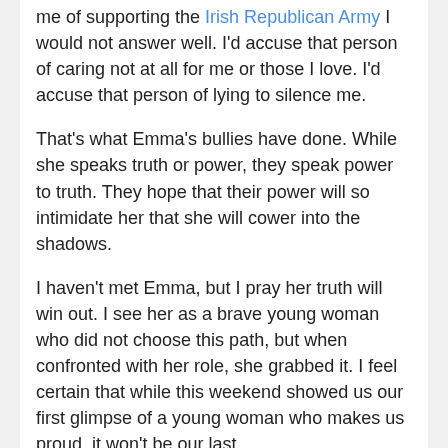me of supporting the Irish Republican Army I would not answer well. I'd accuse that person of caring not at all for me or those I love. I'd accuse that person of lying to silence me.
That's what Emma's bullies have done. While she speaks truth or power, they speak power to truth. They hope that their power will so intimidate her that she will cower into the shadows.
I haven't met Emma, but I pray her truth will win out. I see her as a brave young woman who did not choose this path, but when confronted with her role, she grabbed it. I feel certain that while this weekend showed us our first glimpse of a young woman who makes us proud, it won't be our last.
This entry was posted in Grieving, Praying, Ranting by tom. Bookmark the permalink.
2 THOUGHTS ON "HOW LOW WILL THEY GO? AT THIS POINT WE STILL DON'T KNOW"